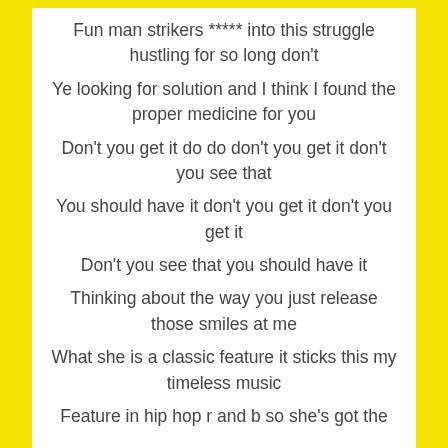Fun man strikers ***** into this struggle hustling for so long don't
Ye looking for solution and I think I found the proper medicine for you
Don't you get it do do don't you get it don't you see that
You should have it don't you get it don't you get it
Don't you see that you should have it
Thinking about the way you just release those smiles at me
What she is a classic feature it sticks this my timeless music
Feature in hip hop r and b so she's got the